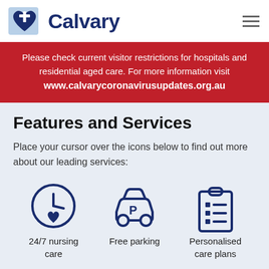[Figure (logo): Calvary logo with heart and cross icon in blue and white]
Calvary
Please check current visitor restrictions for hospitals and residential aged care. For more information visit www.calvarycoronavirusupdates.org.au
Features and Services
Place your cursor over the icons below to find out more about our leading services:
[Figure (infographic): Three icons: clock with heart (24/7 nursing care), car with P sign (Free parking), clipboard with checklist (Personalised care plans)]